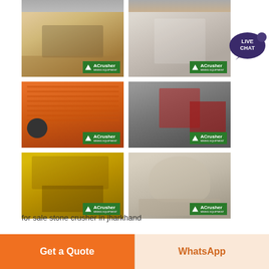[Figure (photo): Grid of 6 ACrusher mining/crushing equipment photos: impact crushers, jaw crushers, vibrating screens, cone crushers — shown in tan/white, orange, yellow, and gray colors with ACrusher brand logos]
[Figure (illustration): Live Chat speech bubble icon in dark purple/navy color with 'LIVE CHAT' text]
for sale stone crusher in jharkhand
[Figure (illustration): Orange 'Get a Quote' button]
[Figure (illustration): Light orange 'WhatsApp' button]